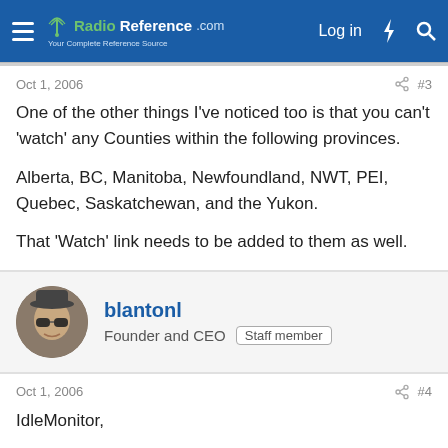RadioReference.com — Log in
Oct 1, 2006  #3
One of the other things I've noticed too is that you can't 'watch' any Counties within the following provinces.

Alberta, BC, Manitoba, Newfoundland, NWT, PEI, Quebec, Saskatchewan, and the Yukon.

That 'Watch' link needs to be added to them as well.
blantonl
Founder and CEO  Staff member
Oct 1, 2006  #4
IdleMonitor,

The problem there is that I don't have a facility in place to